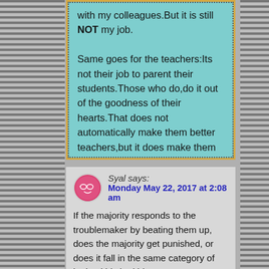with my colleagues.But it is still NOT my job.

Same goes for the teachers:Its not their job to parent their students.Those who do,do it out of the goodness of their hearts.That does not automatically make them better teachers,but it does make them better persons.
Syal says:
Monday May 22, 2017 at 2:08 am
If the majority responds to the troublemaker by beating them up, does the majority get punished, or does it fall in the same category of letting kids be kids?
Reply